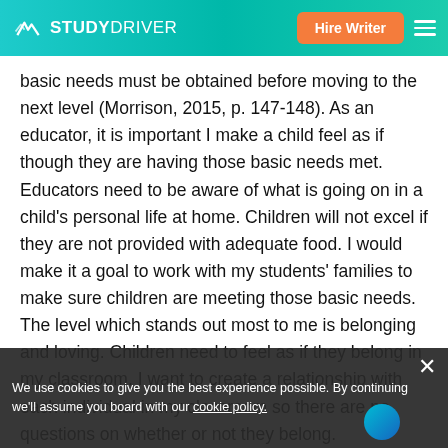STUDYDRIVER | Hire Writer
basic needs must be obtained before moving to the next level (Morrison, 2015, p. 147-148). As an educator, it is important I make a child feel as if though they are having those basic needs met. Educators need to be aware of what is going on in a child's personal life at home. Children will not excel if they are not provided with adequate food. I would make it a goal to work with my students' families to make sure children are meeting those basic needs. The level which stands out most to me is belonging and loving. Children need to feel as if they belong in my classroom. I want to create a relationship with each individual in my classroom so there are no questions on whether or not they belong.
I believe it is important to create relationships with students' family and community. Standard 2: Building Family and Community Relationships is important to a
We use cookies to give you the best experience possible. By continuing we'll assume you board with our cookie policy.